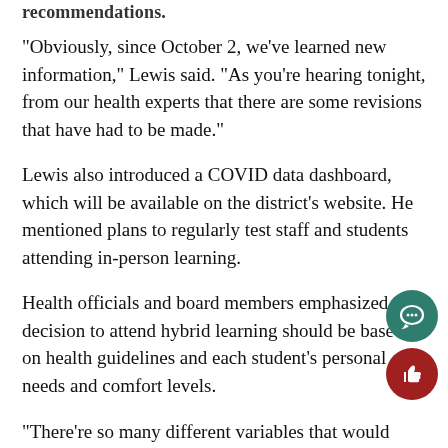recommendations.
“Obviously, since October 2, we’ve learned new information,” Lewis said. “As you’re hearing tonight, from our health experts that there are some revisions that have had to be made.”
Lewis also introduced a COVID data dashboard, which will be available on the district’s website. He mentioned plans to regularly test staff and students attending in-person learning.
Health officials and board members emphasized the decision to attend hybrid learning should be based on health guidelines and each student’s personal needs and comfort levels.
“There’re so many different variables that would come into each individual or family’s decision,” Partridge said. “It’s up to each individual family to